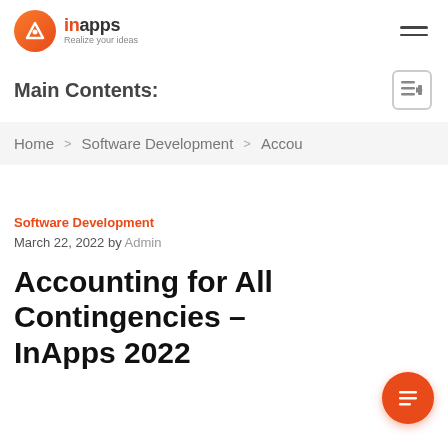inapps - Realize your ideas
Main Contents:
Home > Software Development > Accou
Software Development
March 22, 2022 by Admin
Accounting for All Contingencies – InApps 2022